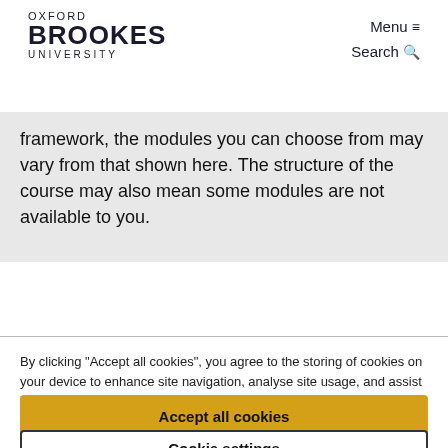OXFORD BROOKES UNIVERSITY  Menu  Search
framework, the modules you can choose from may vary from that shown here. The structure of the course may also mean some modules are not available to you.
By clicking "Accept all cookies", you agree to the storing of cookies on your device to enhance site navigation, analyse site usage, and assist in our marketing efforts. Please go to "Cookie settings" to change your preferences. See our cookie policy.
Accept all cookies
Cookie settings